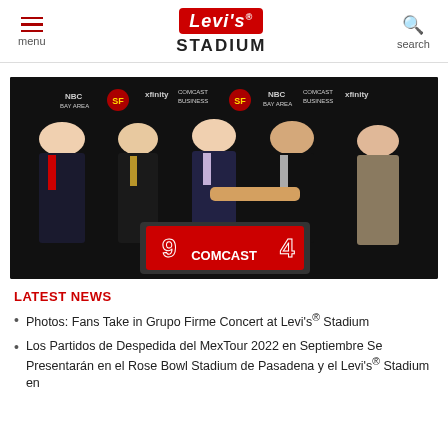menu | Levi's® Stadium | search
[Figure (photo): Five men in suits standing in front of a backdrop with NBC Bay Area, Xfinity, Comcast Business, and 49ers logos. Two men in the center are shaking hands over a framed Comcast red 49ers jersey.]
LATEST NEWS
Photos: Fans Take in Grupo Firme Concert at Levi's® Stadium
Los Partidos de Despedida del MexTour 2022 en Septiembre Se Presentarán en el Rose Bowl Stadium de Pasadena y el Levi's® Stadium en